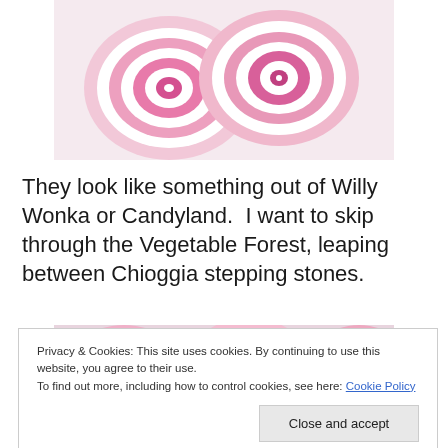[Figure (photo): Close-up photo of sliced Chioggia beets showing pink and white concentric ring patterns, on a white background.]
They look like something out of Willy Wonka or Candyland.  I want to skip through the Vegetable Forest, leaping between Chioggia stepping stones.
[Figure (photo): Photo of multiple sliced Chioggia beets showing pink and white swirl/concentric ring patterns.]
Privacy & Cookies: This site uses cookies. By continuing to use this website, you agree to their use.
To find out more, including how to control cookies, see here: Cookie Policy